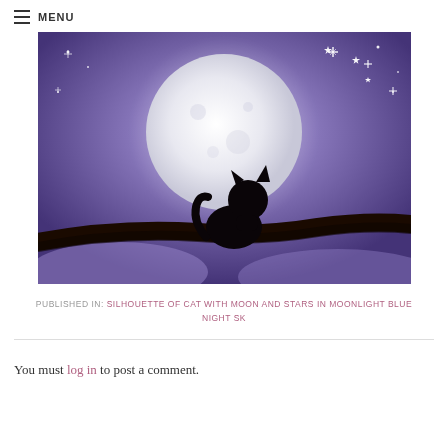MENU
[Figure (photo): Silhouette of a black cat sitting on a branch in front of a large full moon, against a purple/blue night sky with stars and sparkles.]
PUBLISHED IN: SILHOUETTE OF CAT WITH MOON AND STARS IN MOONLIGHT BLUE NIGHT SK
You must log in to post a comment.